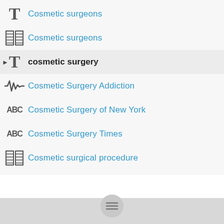Cosmetic surgeons (article icon)
Cosmetic surgeons (grid icon)
cosmetic surgery (bold, selected)
Cosmetic Surgery Addiction
Cosmetic Surgery of New York
Cosmetic Surgery Times
Cosmetic surgical procedure